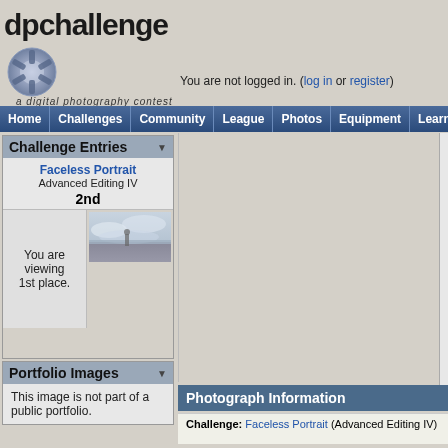[Figure (logo): dpchallenge logo - a digital photography contest with camera aperture icon]
You are not logged in. (log in or register)
Home | Challenges | Community | League | Photos | Equipment | Learn | D
Challenge Entries
Faceless Portrait
Advanced Editing IV
2nd
You are viewing 1st place.
[Figure (photo): Thumbnail of a landscape photo showing misty/cloudy outdoor scene]
Portfolio Images
This image is not part of a public portfolio.
Photograph Information
Challenge: Faceless Portrait (Advanced Editing IV)